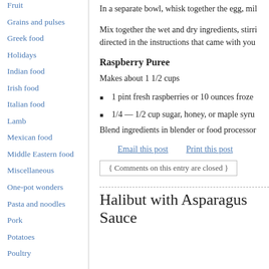Fruit
Grains and pulses
Greek food
Holidays
Indian food
Irish food
Italian food
Lamb
Mexican food
Middle Eastern food
Miscellaneous
One-pot wonders
Pasta and noodles
Pork
Potatoes
Poultry
In a separate bowl, whisk together the egg, mil
Mix together the wet and dry ingredients, stirri directed in the instructions that came with you
Raspberry Puree
Makes about 1 1/2 cups
1 pint fresh raspberries or 10 ounces froze
1/4 — 1/2 cup sugar, honey, or maple syru
Blend ingredients in blender or food processor
Email this post    Print this post
{ Comments on this entry are closed }
Halibut with Asparagus Sauce